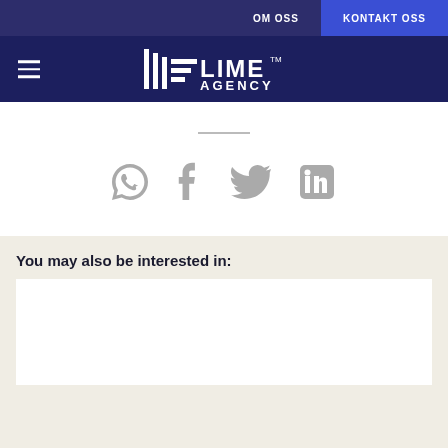OM OSS  KONTAKT OSS
[Figure (logo): Lime Agency logo with hamburger menu icon on dark navy background]
[Figure (infographic): Social sharing icons: WhatsApp, Facebook, Twitter, LinkedIn in gray]
You may also be interested in:
[Figure (other): White card placeholder for related content]